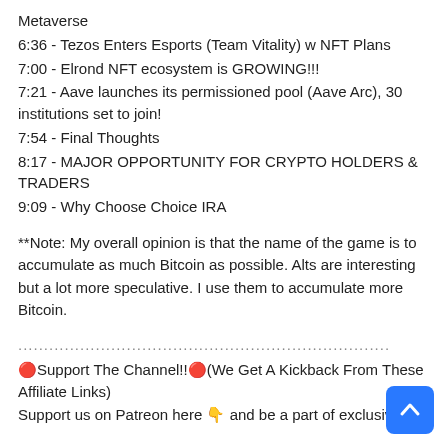Metaverse
6:36 - Tezos Enters Esports (Team Vitality) w NFT Plans
7:00 - Elrond NFT ecosystem is GROWING!!!
7:21 - Aave launches its permissioned pool (Aave Arc), 30 institutions set to join!
7:54 - Final Thoughts
8:17 - MAJOR OPPORTUNITY FOR CRYPTO HOLDERS &amp; TRADERS
9:09 - Why Choose Choice IRA
**Note: My overall opinion is that the name of the game is to accumulate as much Bitcoin as possible. Alts are interesting but a lot more speculative. I use them to accumulate more Bitcoin.
........................................................................
🔴Support The Channel!!🔴(We Get A Kickback From These Affiliate Links)
Support us on Patreon here 👇 and be a part of exclusive